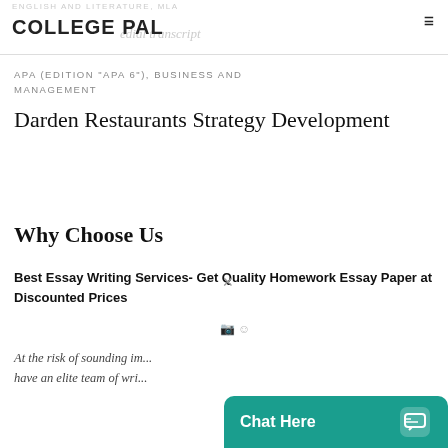COLLEGE PAL
APA (EDITION "APA 6"), BUSINESS AND MANAGEMENT
Darden Restaurants Strategy Development
Why Choose Us
Best Essay Writing Services- Get Quality Homework Essay Paper at Discounted Prices
At the risk of sounding im... have an elite team of wri...